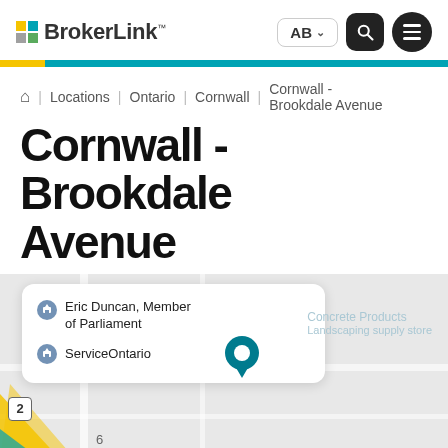BrokerLink — AB | [search] [menu]
Home | Locations | Ontario | Cornwall | Cornwall - Brookdale Avenue
Cornwall - Brookdale Avenue
[Figure (map): Street map snippet showing location near Eric Duncan Member of Parliament and ServiceOntario landmarks in Cornwall, Ontario, with a teal location pin marking the BrokerLink Brookdale Avenue office.]